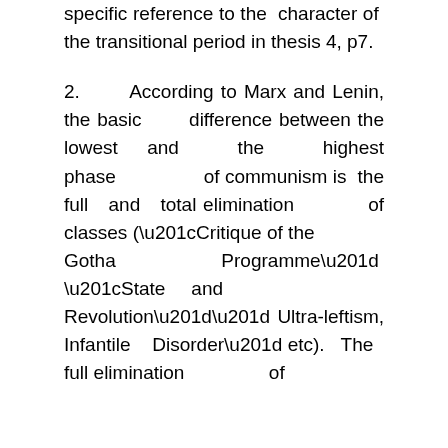specific reference to the character of the transitional period in thesis 4, p7.
2. According to Marx and Lenin, the basic difference between the lowest and the highest phase of communism is the full and total elimination of classes (“Critique of the Gotha Programme” “State and Revolution”” Ultra-leftism, Infantile Disorder” etc). The full elimination of